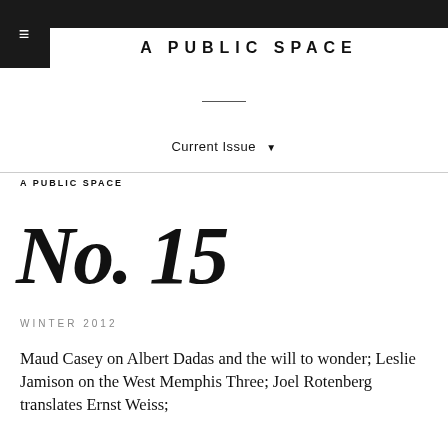A PUBLIC SPACE
Current Issue ▼
A PUBLIC SPACE
No. 15
WINTER 2012
Maud Casey on Albert Dadas and the will to wonder; Leslie Jamison on the West Memphis Three; Joel Rotenberg translates Ernst Weiss;